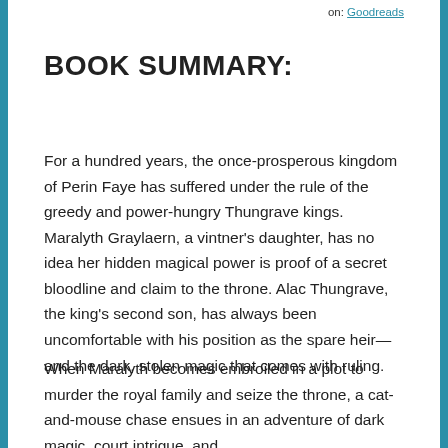on: Goodreads
BOOK SUMMARY:
For a hundred years, the once-prosperous kingdom of Perin Faye has suffered under the rule of the greedy and power-hungry Thungrave kings. Maralyth Graylaern, a vintner's daughter, has no idea her hidden magical power is proof of a secret bloodline and claim to the throne. Alac Thungrave, the king's second son, has always been uncomfortable with his position as the spare heir—and the dark, stolen magic that comes with ruling.
When Maralyth becomes embroiled in a plot to murder the royal family and seize the throne, a cat-and-mouse chase ensues in an adventure of dark magic, court intrigue, and